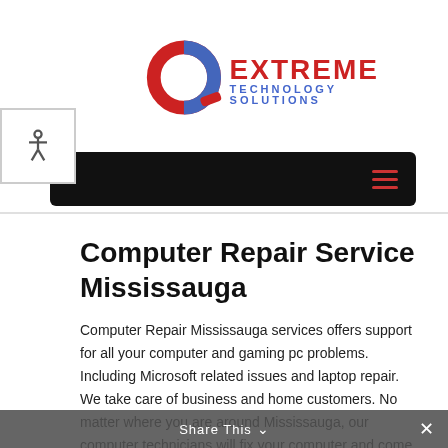[Figure (logo): Extreme Technology Solutions logo with stylized alpha symbol in red and blue, company name in red uppercase 'EXTREME' and blue 'TECHNOLOGY SOLUTIONS']
[Figure (other): Accessibility wheelchair icon in a small bordered box at top left]
[Figure (other): Black navigation bar with red hamburger menu icon on right side]
Computer Repair Service Mississauga
Computer Repair Mississauga services offers support for all your computer and gaming pc problems. Including Microsoft related issues and laptop repair. We take care of business and home customers. No matter where you are around Mississauga, our computer technicians will fix your computer and come to you whenever! Call us today!
Share This